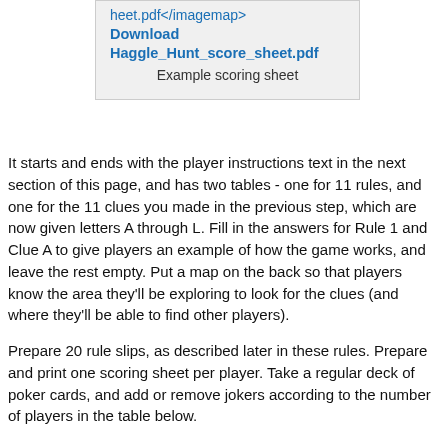[Figure (other): A shaded box showing a link: 'heet.pdf</imagemap>' and a bold blue download link 'Download Haggle_Hunt_score_sheet.pdf' with caption 'Example scoring sheet']
Example scoring sheet
It starts and ends with the player instructions text in the next section of this page, and has two tables - one for 11 rules, and one for the 11 clues you made in the previous step, which are now given letters A through L. Fill in the answers for Rule 1 and Clue A to give players an example of how the game works, and leave the rest empty. Put a map on the back so that players know the area they'll be exploring to look for the clues (and where they'll be able to find other players).
Prepare 20 rule slips, as described later in these rules. Prepare and print one scoring sheet per player. Take a regular deck of poker cards, and add or remove jokers according to the number of players in the table below.